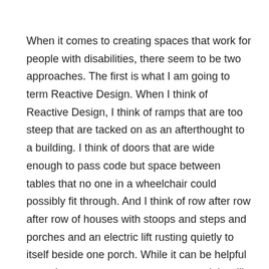When it comes to creating spaces that work for people with disabilities, there seem to be two approaches. The first is what I am going to term Reactive Design. When I think of Reactive Design, I think of ramps that are too steep that are tacked on as an afterthought to a building. I think of doors that are wide enough to pass code but space between tables that no one in a wheelchair could possibly fit through. And I think of row after row after row of houses with stoops and steps and porches and an electric lift rusting quietly to itself beside one porch. While it can be helpful as a short term measure to an extent, it is still problematic because it is often too little, too late for those who are already struggling and isolated.